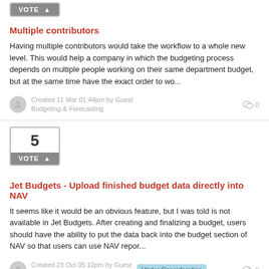[Figure (other): Vote button box shown partially at top of page, grey background with white text VOTE]
Multiple contributors
Having multiple contributors would take the workflow to a whole new level. This would help a company in which the budgeting process depends on multiple people working on their same department budget, but at the same time have the exact order to wo...
Created 11 Mar 01:44pm by Guest
Budgeting & Forecasting
[Figure (other): Vote box with number 5 and VOTE button, grey border]
Jet Budgets - Upload finished budget data directly into NAV
It seems like it would be an obvious feature, but I was told is not available in Jet Budgets. After creating and finalizing a budget, users should have the ability to put the data back into the budget section of NAV so that users can use NAV repor...
Created 23 Oct 05:10pm by Guest
Budgeting & Forecasting